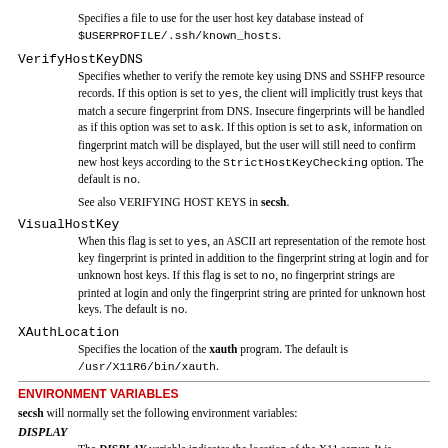Specifies a file to use for the user host key database instead of $USERPROFILE/.ssh/known_hosts.
VerifyHostKeyDNS
Specifies whether to verify the remote key using DNS and SSHFP resource records. If this option is set to yes, the client will implicitly trust keys that match a secure fingerprint from DNS. Insecure fingerprints will be handled as if this option was set to ask. If this option is set to ask, information on fingerprint match will be displayed, but the user will still need to confirm new host keys according to the StrictHostKeyChecking option. The default is no.
See also VERIFYING HOST KEYS in secsh.
VisualHostKey
When this flag is set to yes, an ASCII art representation of the remote host key fingerprint is printed in addition to the fingerprint string at login and for unknown host keys. If this flag is set to no, no fingerprint strings are printed at login and only the fingerprint string are printed for unknown host keys. The default is no.
XAuthLocation
Specifies the location of the xauth program. The default is /usr/X11R6/bin/xauth.
ENVIRONMENT VARIABLES
secsh will normally set the following environment variables:
DISPLAY
The DISPLAY variable indicates the location of the X11 server. It is automatically set by secsh to point to a value of the form hostname:n where